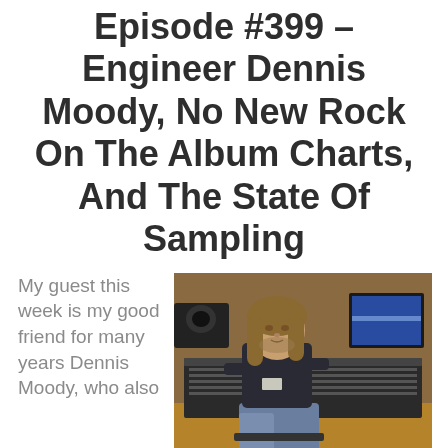Episode #399 – Engineer Dennis Moody, No New Rock On The Album Charts, And The State Of Sampling
My guest this week is my good friend for many years Dennis Moody, who also
[Figure (photo): A man with long gray-brown hair sitting in front of a large mixing console in a professional recording studio. He is wearing a dark polo shirt and jeans. Behind him are studio monitors, computer screens, and wood-paneled walls.]